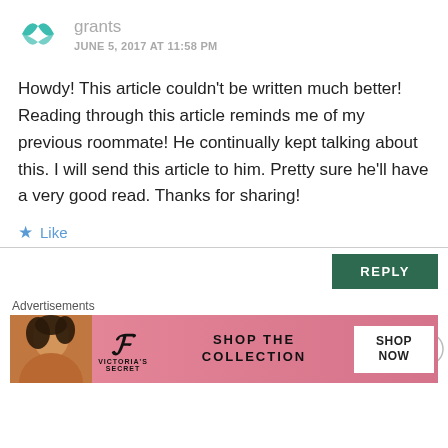grants
JUNE 5, 2017 AT 11:58 PM
Howdy! This article couldn't be written much better! Reading through this article reminds me of my previous roommate! He continually kept talking about this. I will send this article to him. Pretty sure he'll have a very good read. Thanks for sharing!
Like
REPLY
Advertisements
[Figure (infographic): Victoria's Secret advertisement banner with model photo, VS logo, 'SHOP THE COLLECTION' text and 'SHOP NOW' button]